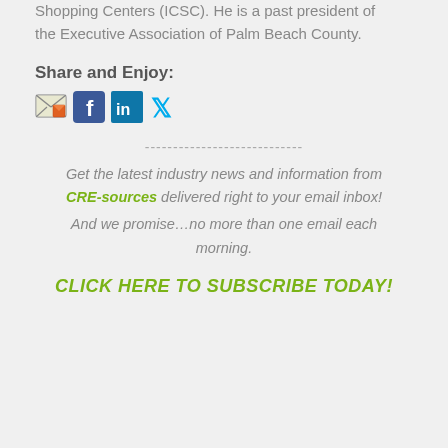Broward Alliance and the International Council of Shopping Centers (ICSC). He is a past president of the Executive Association of Palm Beach County.
Share and Enjoy:
[Figure (other): Social sharing icons: email, Facebook, LinkedIn, Twitter]
----------------------------
Get the latest industry news and information from CRE-sources delivered right to your email inbox!
And we promise…no more than one email each morning.
CLICK HERE TO SUBSCRIBE TODAY!